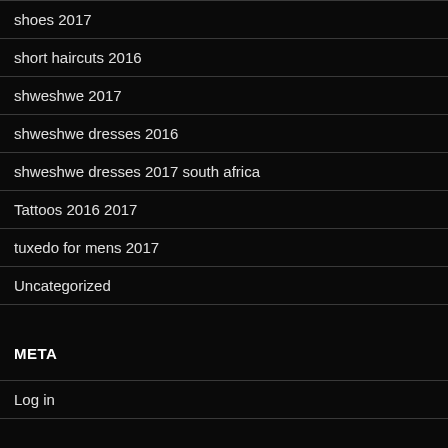shoes 2017
short haircuts 2016
shweshwe 2017
shweshwe dresses 2016
shweshwe dresses 2017 south africa
Tattoos 2016 2017
tuxedo for mens 2017
Uncategorized
META
Log in